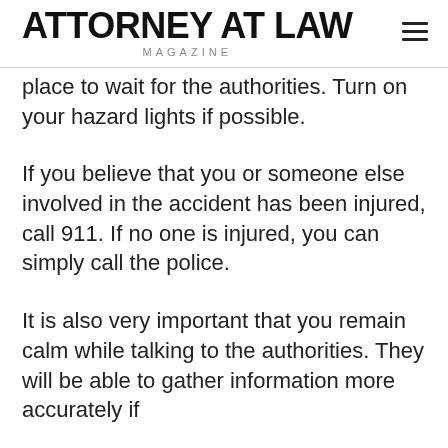ATTORNEY AT LAW MAGAZINE
place to wait for the authorities. Turn on your hazard lights if possible.
If you believe that you or someone else involved in the accident has been injured, call 911. If no one is injured, you can simply call the police.
It is also very important that you remain calm while talking to the authorities. They will be able to gather information more accurately if